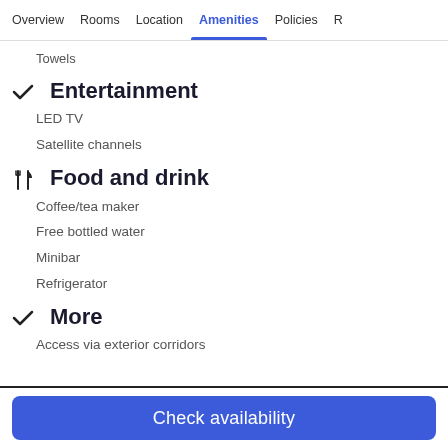Overview  Rooms  Location  Amenities  Policies  R
Towels
✓  Entertainment
LED TV
Satellite channels
✗  Food and drink
Coffee/tea maker
Free bottled water
Minibar
Refrigerator
✓  More
Access via exterior corridors
Check availability